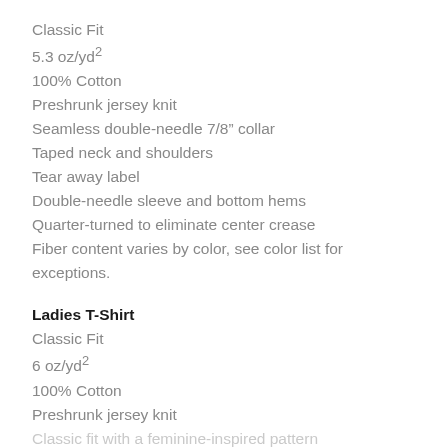Classic Fit
5.3 oz/yd²
100% Cotton
Preshrunk jersey knit
Seamless double-needle 7/8" collar
Taped neck and shoulders
Tear away label
Double-needle sleeve and bottom hems
Quarter-turned to eliminate center crease
Fiber content varies by color, see color list for exceptions.
Ladies T-Shirt
Classic Fit
6 oz/yd²
100% Cotton
Preshrunk jersey knit
Classic fit with a feminine-inspired pattern